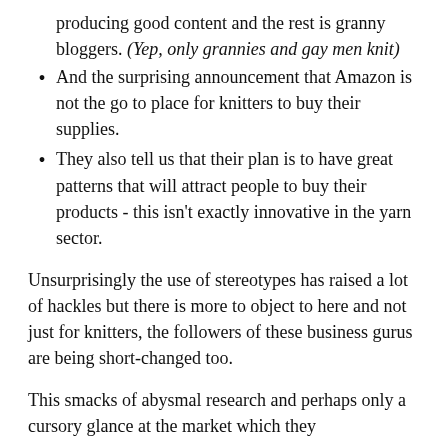producing good content and the rest is granny bloggers. (Yep, only grannies and gay men knit)
And the surprising announcement that Amazon is not the go to place for knitters to buy their supplies.
They also tell us that their plan is to have great patterns that will attract people to buy their products - this isn't exactly innovative in the yarn sector.
Unsurprisingly the use of stereotypes has raised a lot of hackles but there is more to object to here and not just for knitters, the followers of these business gurus are being short-changed too.
This smacks of abysmal research and perhaps only a cursory glance at the market which they